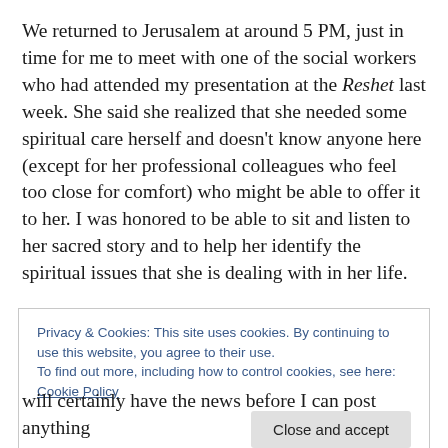We returned to Jerusalem at around 5 PM, just in time for me to meet with one of the social workers who had attended my presentation at the Reshet last week. She said she realized that she needed some spiritual care herself and doesn't know anyone here (except for her professional colleagues who feel too close for comfort) who might be able to offer it to her. I was honored to be able to sit and listen to her sacred story and to help her identify the spiritual issues that she is dealing with in her life.
Privacy & Cookies: This site uses cookies. By continuing to use this website, you agree to their use.
To find out more, including how to control cookies, see here: Cookie Policy
will certainly have the news before I can post anything